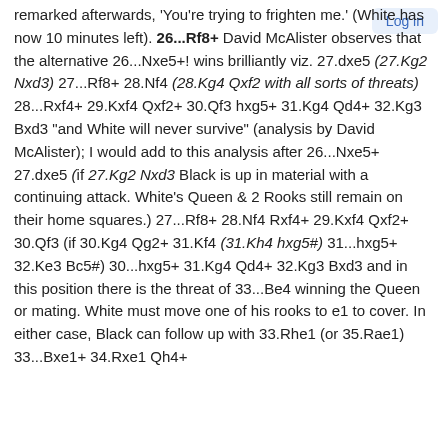Log in
remarked afterwards, 'You're trying to frighten me.' (White has now 10 minutes left). 26...Rf8+ David McAlister observes that the alternative 26...Nxe5+! wins brilliantly viz. 27.dxe5 (27.Kg2 Nxd3) 27...Rf8+ 28.Nf4 (28.Kg4 Qxf2 with all sorts of threats) 28...Rxf4+ 29.Kxf4 Qxf2+ 30.Qf3 hxg5+ 31.Kg4 Qd4+ 32.Kg3 Bxd3 "and White will never survive" (analysis by David McAlister); I would add to this analysis after 26...Nxe5+ 27.dxe5 (if 27.Kg2 Nxd3 Black is up in material with a continuing attack. White's Queen & 2 Rooks still remain on their home squares.) 27...Rf8+ 28.Nf4 Rxf4+ 29.Kxf4 Qxf2+ 30.Qf3 (if 30.Kg4 Qg2+ 31.Kf4 (31.Kh4 hxg5#) 31...hxg5+ 32.Ke3 Bc5#) 30...hxg5+ 31.Kg4 Qd4+ 32.Kg3 Bxd3 and in this position there is the threat of 33...Be4 winning the Queen or mating. White must move one of his rooks to e1 to cover. In either case, Black can follow up with 33.Rhe1 (or 35.Rae1) 33...Bxe1+ 34.Rxe1 Qh4+